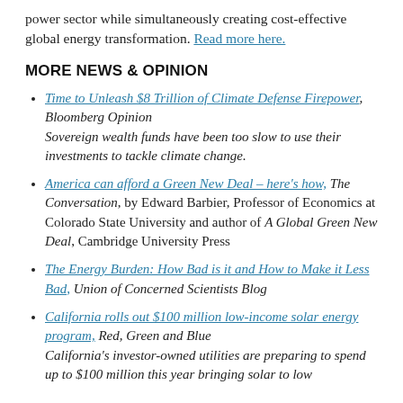power sector while simultaneously creating cost-effective global energy transformation. Read more here.
MORE NEWS & OPINION
Time to Unleash $8 Trillion of Climate Defense Firepower, Bloomberg Opinion
Sovereign wealth funds have been too slow to use their investments to tackle climate change.
America can afford a Green New Deal – here's how, The Conversation, by Edward Barbier, Professor of Economics at Colorado State University and author of A Global Green New Deal, Cambridge University Press
The Energy Burden: How Bad is it and How to Make it Less Bad, Union of Concerned Scientists Blog
California rolls out $100 million low-income solar energy program, Red, Green and Blue
California's investor-owned utilities are preparing to spend up to $100 million this year bringing solar to low